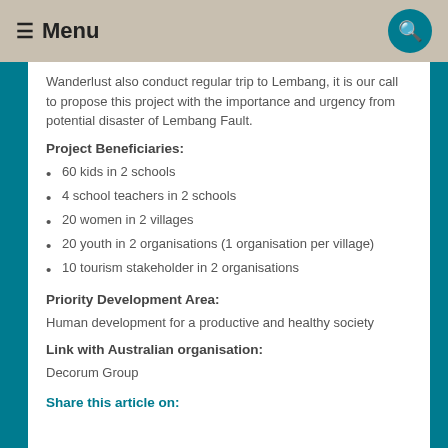≡ Menu
Wanderlust also conduct regular trip to Lembang, it is our call to propose this project with the importance and urgency from potential disaster of Lembang Fault.
Project Beneficiaries:
60 kids in 2 schools
4 school teachers in 2 schools
20 women in 2 villages
20 youth in 2 organisations (1 organisation per village)
10 tourism stakeholder in 2 organisations
Priority Development Area:
Human development for a productive and healthy society
Link with Australian organisation:
Decorum Group
Share this article on: